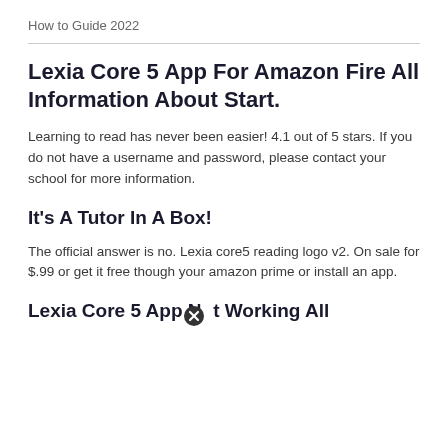How to Guide 2022
Lexia Core 5 App For Amazon Fire All Information About Start.
Learning to read has never been easier! 4.1 out of 5 stars. If you do not have a username and password, please contact your school for more information.
It's A Tutor In A Box!
The official answer is no. Lexia core5 reading logo v2. On sale for $.99 or get it free though your amazon prime or install an app.
Lexia Core 5 App Not Working All